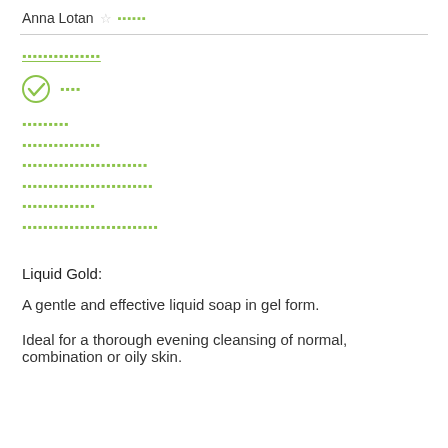Anna Lotan ☆ ▪▪▪▪▪▪
▪▪▪▪▪▪▪▪▪▪▪▪▪▪▪
▪▪▪▪
▪▪▪▪▪▪▪▪▪
▪▪▪▪▪▪▪▪▪▪▪▪▪▪▪
▪▪▪▪▪▪▪▪▪▪▪▪▪▪▪▪▪▪▪▪▪▪▪▪
▪▪▪▪▪▪▪▪▪▪▪▪▪▪▪▪▪▪▪▪▪▪▪▪▪
▪▪▪▪▪▪▪▪▪▪▪▪▪▪
▪▪▪▪▪▪▪▪▪▪▪▪▪▪▪▪▪▪▪▪▪▪▪▪▪▪
Liquid Gold:
A gentle and effective liquid soap in gel form.
Ideal for a thorough evening cleansing of normal, combination or oily skin.